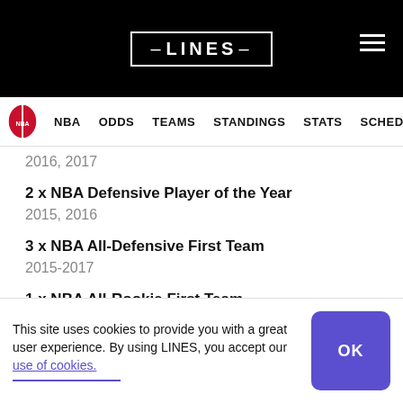LINES — NBA | ODDS | TEAMS | STANDINGS | STATS | SCHED
2016, 2017
2 x NBA Defensive Player of the Year
2015, 2016
3 x NBA All-Defensive First Team
2015-2017
1 x NBA All-Rookie First Team
2012
1 x NBA steals leader
This site uses cookies to provide you with a great user experience. By using LINES, you accept our use of cookies.